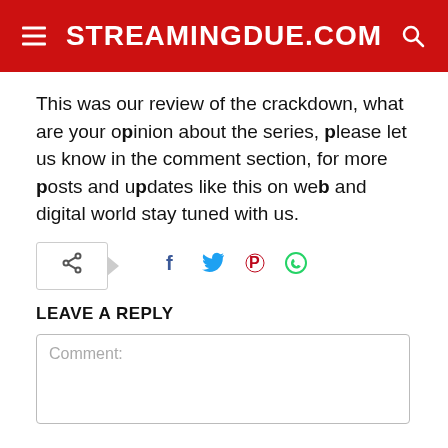STREAMINGDUE.COM
This was our review of the crackdown, what are your opinion about the series, please let us know in the comment section, for more posts and updates like this on web and digital world stay tuned with us.
[Figure (infographic): Social share bar with share icon box and social media icons: Facebook, Twitter, Pinterest, WhatsApp]
LEAVE A REPLY
Comment: